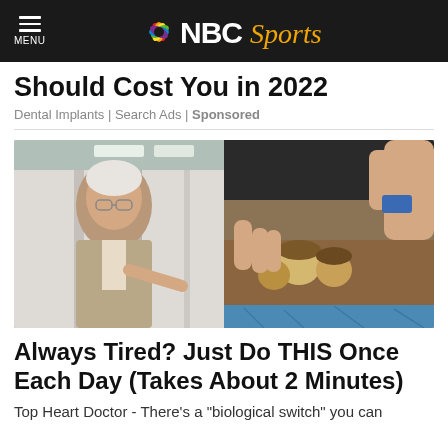MENU | NBC Sports
Should Cost You in 2022
Dental Implants | Search Ads | Sponsored
[Figure (photo): Composite image: left side shows an elderly man in a suit pointing at something; right side shows a close-up of hands touching small round objects in soil/sand]
Always Tired? Just Do THIS Once Each Day (Takes About 2 Minutes)
Top Heart Doctor - There's a "biological switch" you can